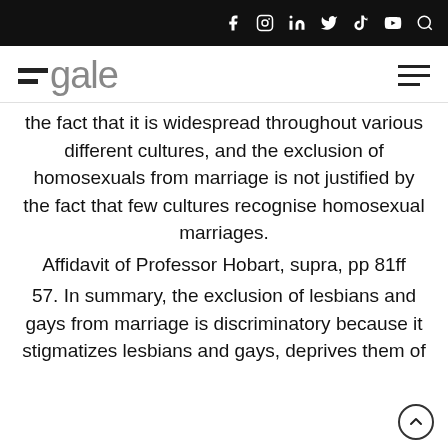Egale – social media icons header bar
Egale logo and navigation
the fact that it is widespread throughout various different cultures, and the exclusion of homosexuals from marriage is not justified by the fact that few cultures recognise homosexual marriages.
Affidavit of Professor Hobart, supra, pp 81ff
57. In summary, the exclusion of lesbians and gays from marriage is discriminatory because it stigmatizes lesbians and gays, deprives them of